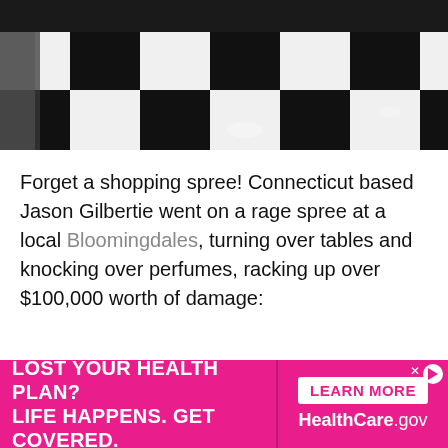[Figure (photo): Black and white checkered tile floor in what appears to be a retail store, with shelving visible on the left side.]
Forget a shopping spree! Connecticut based Jason Gilbertie went on a rage spree at a local Bloomingdales, turning over tables and knocking over perfumes, racking up over $100,000 worth of damage:
[Figure (photo): Partial bottom image, dark/black background, partially obscured by advertisement overlay.]
[Figure (infographic): Advertisement banner: 'LOST YOUR HEALTH PLAN? LIFE HAPPENS. GET COVERED.' on left in white text on pink background. Right side has 'LEARN MORE' button and 'HealthCare.gov' branding on pink background.]